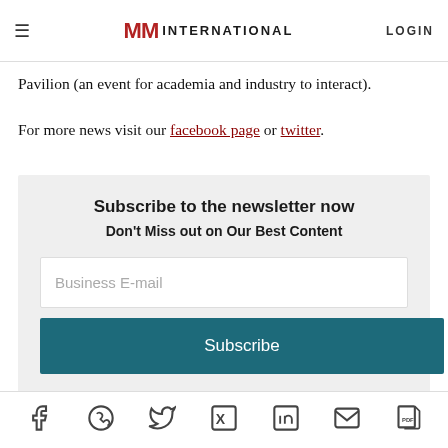MM INTERNATIONAL | LOGIN
Pavilion (an event for academia and industry to interact).
For more news visit our facebook page or twitter.
[Figure (infographic): Newsletter subscription box with title 'Subscribe to the newsletter now', subtitle 'Don't Miss out on Our Best Content', Business E-mail input field, Subscribe button, and disclaimer text about data processing.]
Social share icons: Facebook, WhatsApp, Twitter, Xing, LinkedIn, Email, PDF